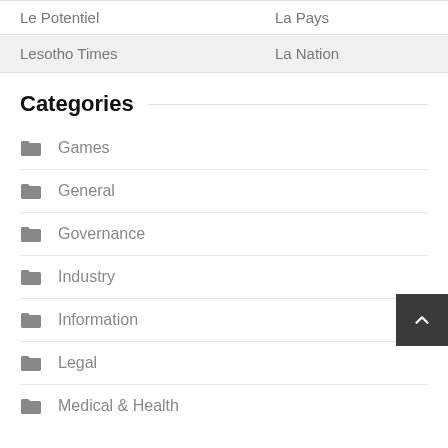|  |  |
| --- | --- |
| Le Potentiel | La Pays |
| Lesotho Times | La Nation |
Categories
Games
General
Governance
Industry
Information
Legal
Medical & Health